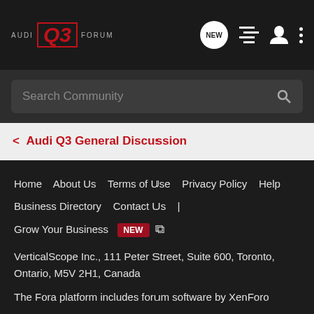AUDI Q3 FORUM
Search Community
< Audi Q3 General Discussion
Home   About Us   Terms of Use   Privacy Policy   Help   Business Directory   Contact Us   |   Grow Your Business   NEW   RSS
VerticalScope Inc., 111 Peter Street, Suite 600, Toronto, Ontario, M5V 2H1, Canada
The Fora platform includes forum software by XenForo
audiq3forum.com is an independent Audi enthusiast website owned and operated by VerticalScope Inc. Content on audiq3forum.com is generated by its users. audiq3forum.com is not in any way affiliated with Audi AG